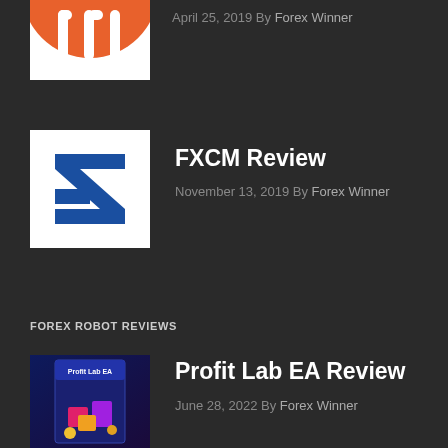[Figure (logo): Partial orange circular logo at top of page (Metatrader or similar), cropped]
April 25, 2019 By Forex Winner
[Figure (logo): FXCM logo - blue arrow/chevron design on white background]
FXCM Review
November 13, 2019 By Forex Winner
FOREX ROBOT REVIEWS
[Figure (photo): Profit Lab EA product box image on dark blue background]
Profit Lab EA Review
June 28, 2022 By Forex Winner